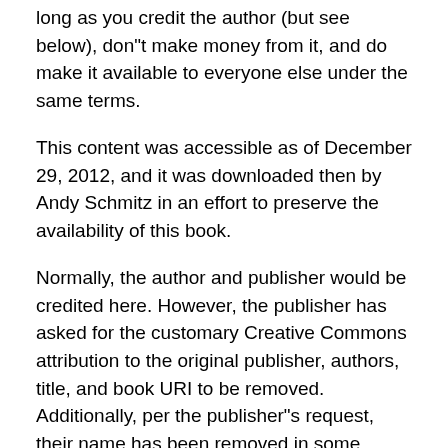long as you credit the author (but see below), don"t make money from it, and do make it available to everyone else under the same terms.
This content was accessible as of December 29, 2012, and it was downloaded then by Andy Schmitz in an effort to preserve the availability of this book.
Normally, the author and publisher would be credited here. However, the publisher has asked for the customary Creative Commons attribution to the original publisher, authors, title, and book URI to be removed. Additionally, per the publisher"s request, their name has been removed in some passages. More information is available on this project"s attribution page.
For more information on the source of this book, or why it is available for free, please see the project"s